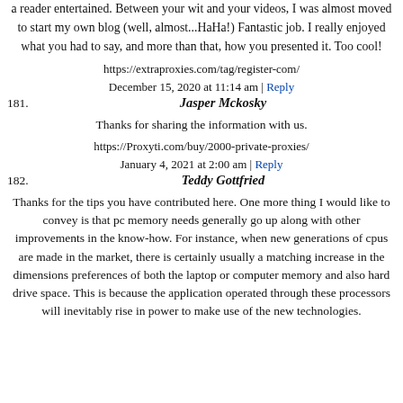a reader entertained. Between your wit and your videos, I was almost moved to start my own blog (well, almost...HaHa!) Fantastic job. I really enjoyed what you had to say, and more than that, how you presented it. Too cool!
https://extraproxies.com/tag/register-com/
December 15, 2020 at 11:14 am | Reply
181. Jasper Mckosky
Thanks for sharing the information with us.
https://Proxyti.com/buy/2000-private-proxies/
January 4, 2021 at 2:00 am | Reply
182. Teddy Gottfried
Thanks for the tips you have contributed here. One more thing I would like to convey is that pc memory needs generally go up along with other improvements in the know-how. For instance, when new generations of cpus are made in the market, there is certainly usually a matching increase in the dimensions preferences of both the laptop or computer memory and also hard drive space. This is because the application operated through these processors will inevitably rise in power to make use of the new technologies.